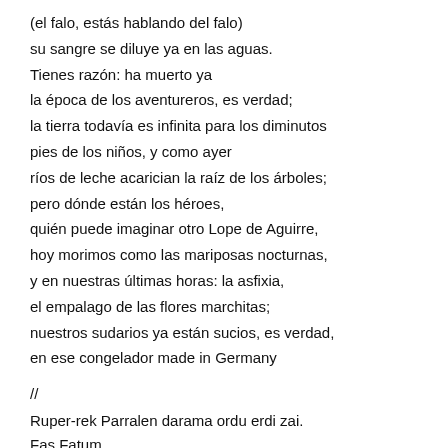(el falo, estás hablando del falo)
su sangre se diluye ya en las aguas.
Tienes razón: ha muerto ya
la época de los aventureros, es verdad;
la tierra todavía es infinita para los diminutos
pies de los niños, y como ayer
ríos de leche acarician la raíz de los árboles;
pero dónde están los héroes,
quién puede imaginar otro Lope de Aguirre,
hoy morimos como las mariposas nocturnas,
y en nuestras últimas horas: la asfixia,
el empalago de las flores marchitas;
nuestros sudarios ya están sucios, es verdad,
en ese congelador made in Germany
//
Ruper-rek Parralen darama ordu erdi zai.
Fas Fatum.
Bernardo beti iristen da berandu, eta hori iristen denean.
Harkaitz Igorrekin telefonoz 2 orduko connection